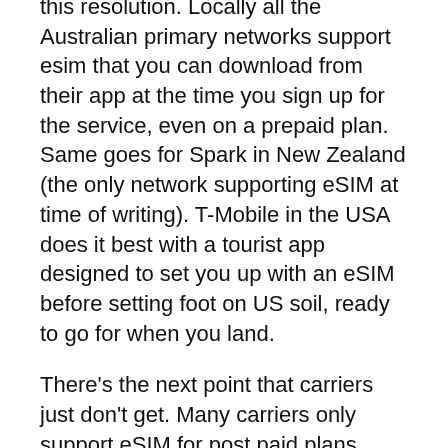this resolution. Locally all the Australian primary networks support esim that you can download from their app at the time you sign up for the service, even on a prepaid plan.  Same goes for Spark in New Zealand (the only network supporting eSIM at time of writing).  T-Mobile in the USA does it best with a tourist app designed to set you up with an eSIM before setting foot on US soil, ready to go for when you land.
There's the next point that carriers just don't get.  Many carriers only support eSIM for post paid plans.  This leaves customers wanting a prepaid service high and dry with a physical sim.
Wouldn't it be great to just switch eSIMs on your device whenever you land in a new country without a second thought to it?  With heavy restrictions on mobile plans across the globe, good luck with this, at